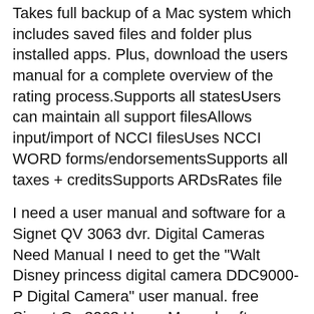Takes full backup of a Mac system which includes saved files and folder plus installed apps. Plus, download the users manual for a complete overview of the rating process.Supports all statesUsers can maintain all support filesAllows input/import of NCCI filesUses NCCI WORD forms/endorsementsSupports all taxes + creditsSupports ARDsRates file
I need a user manual and software for a Signet QV 3063 dvr. Digital Cameras Need Manual I need to get the "Walt Disney princess digital camera DDC9000-P Digital Camera" user manual. free Signet Qv 3063 Users Manual software download